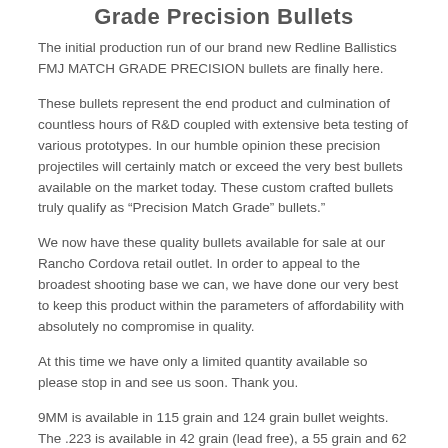Grade Precision Bullets
The initial production run of our brand new Redline Ballistics FMJ MATCH GRADE PRECISION bullets are finally here.
These bullets represent the end product and culmination of countless hours of R&D coupled with extensive beta testing of various prototypes. In our humble opinion these precision projectiles will certainly match or exceed the very best bullets available on the market today. These custom crafted bullets truly qualify as “Precision Match Grade” bullets.”
We now have these quality bullets available for sale at our Rancho Cordova retail outlet. In order to appeal to the broadest shooting base we can, we have done our very best to keep this product within the parameters of affordability with absolutely no compromise in quality.
At this time we have only a limited quantity available so please stop in and see us soon. Thank you.
9MM is available in 115 grain and 124 grain bullet weights. The .223 is available in 42 grain (lead free), a 55 grain and 62 grain boat tail spitzer.